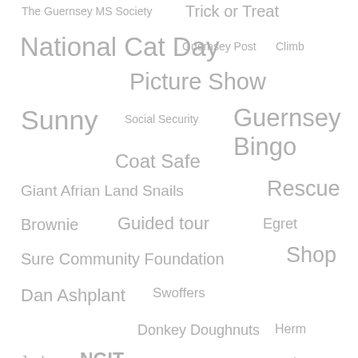[Figure (infographic): Tag cloud / word cloud with various tags in different font sizes, all in grey color. Tags include: The Guernsey MS Society, Trick or Treat, National Cat Day, Guernsey Post, Climb, Picture Show, Sunny, Social Security, Guernsey Bingo, Coat Safe, Giant Afrian Land Snails, Rescue, Brownie, Guided tour, Egret, Sure Community Foundation, Shop, Dan Ashplant, Swoffers, Donkey Doughnuts, Herm, Joules, NGIT, Next Generation IT, KPMG, Short Eared Owl, Checkout CI, Special Recognition Award, Pembroke Beach, Peter Rabbit 2, Cat Cancer, Come Eat With Me, Found, Bird, Pride of Britain, Microchipp, GSPCA Shop, Competition, Dog Stray dog]